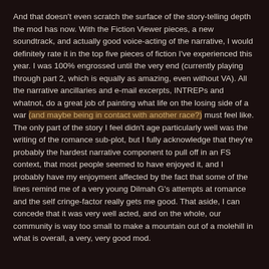And that doesn't even scratch the surface of the story-telling depth the mod has now. With the Fiction Viewer pieces, a new soundtrack, and actually good voice-acting of the narrative, I would definitely rate it in the top five pieces of fiction I've experienced this year. I was 100% engrossed until the very end (currently playing through part 2, which is equally as amazing, even without VA). All the narrative ancillaries and e-mail excerpts, INTREPs and whatnot, do a great job of painting what life on the losing side of a war (and maybe being in contact with another race?) must feel like. The only part of the story I feel didn't age particularly well was the writing of the romance sub-plot, but I fully acknowledge that they're probably the hardest narrative component to pull off in an FS context, that most people seemed to have enjoyed it, and I probably have my enjoyment affected by the fact that some of the lines remind me of a very young Dilmah G's attempts at romance and the self cringe-factor really gets me good. That aside, I can concede that it was very well acted, and on the whole, our community is way too small to make a mountain out of a molehill in what is overall, a very, very good mod.